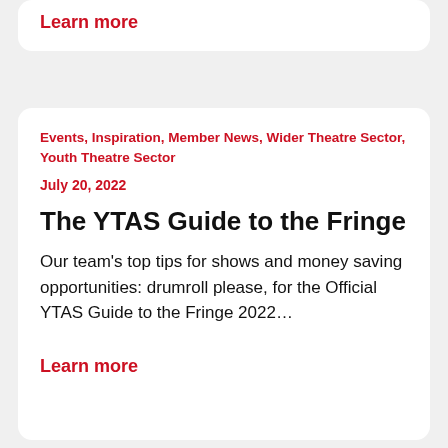Learn more
Events, Inspiration, Member News, Wider Theatre Sector, Youth Theatre Sector
July 20, 2022
The YTAS Guide to the Fringe
Our team's top tips for shows and money saving opportunities: drumroll please, for the Official YTAS Guide to the Fringe 2022…
Learn more